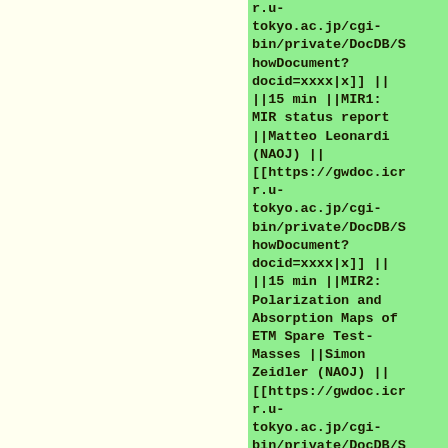[[...]] || ||15 min ||MIR1: MIR status report ||Matteo Leonardi (NAOJ) || [[https://gwdoc.icrr.u-tokyo.ac.jp/cgi-bin/private/DocDB/ShowDocument?docid=xxxx|x]] || ||15 min ||MIR2: Polarization and Absorption Maps of ETM Spare Test-Masses ||Simon Zeidler (NAOJ) || [[https://gwdoc.icrr.u-tokyo.ac.jp/cgi-bin/private/DocDB/S